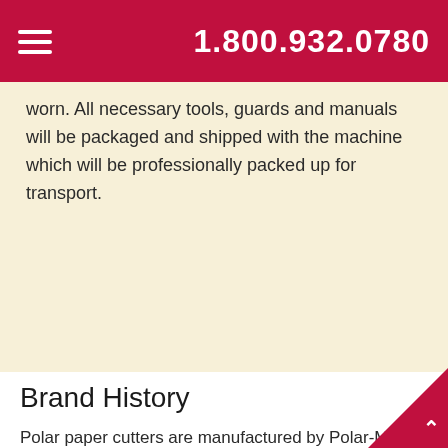1.800.932.0780
worn. All necessary tools, guards and manuals will be packaged and shipped with the machine which will be professionally packed up for transport.
Brand History
Polar paper cutters are manufactured by Polar-Mohr and sold via Heidelberg worldwide. Polar paper cutters were first introduced in 1939. Polar industrial paper cutters have long